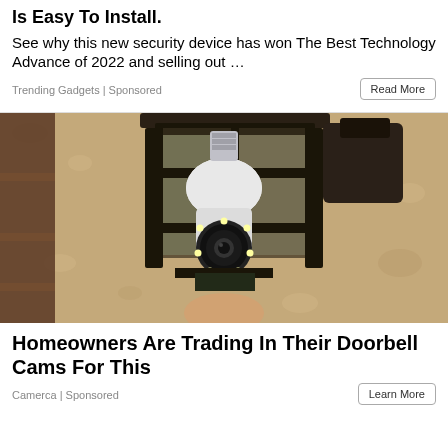Is Easy To Install.
See why this new security device has won The Best Technology Advance of 2022 and selling out …
Trending Gadgets | Sponsored
[Figure (photo): A light bulb security camera installed in an outdoor lantern-style light fixture mounted on a textured stucco wall. The bulb-shaped camera has LED lights around its lens.]
Homeowners Are Trading In Their Doorbell Cams For This
Camerca | Sponsored